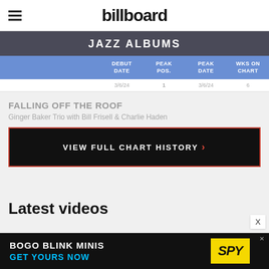billboard
JAZZ ALBUMS
| DEBUT DATE | PEAK POS. | PEAK DATE | WKS ON CHART |
| --- | --- | --- | --- |
FALLING OFF THE ROOF
Ginger Baker Trio with Bill Frisell & Charlie Haden
VIEW FULL CHART HISTORY
Latest videos
[Figure (other): BOGO BLINK MINIS GET YOURS NOW SPY advertisement banner]